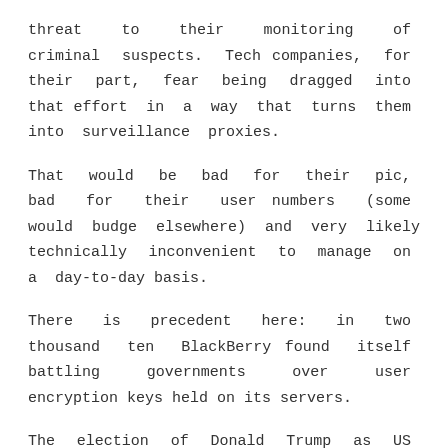threat to their monitoring of criminal suspects. Tech companies, for their part, fear being dragged into that effort in a way that turns them into surveillance proxies.

That would be bad for their pic, bad for their user numbers (some would budge elsewhere) and very likely technically inconvenient to manage on a day-to-day basis.

There is precedent here: in two thousand ten BlackBerry found itself battling governments over user encryption keys held on its servers.

The election of Donald Trump as US president has heightened these fears, albeit given that FBI policy to encryption is already hostile it's not clear how official